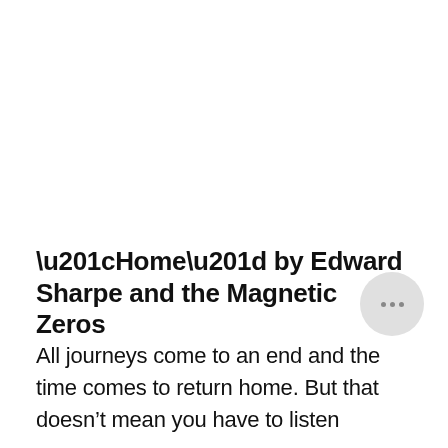“Home” by Edward Sharpe and the Magnetic Zeros
All journeys come to an end and the time comes to return home. But that doesn’t mean you have to listen